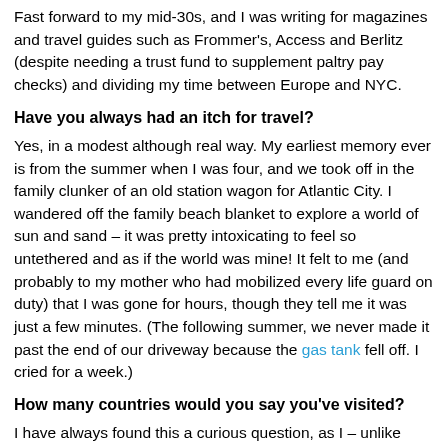Fast forward to my mid-30s, and I was writing for magazines and travel guides such as Frommer's, Access and Berlitz (despite needing a trust fund to supplement paltry pay checks) and dividing my time between Europe and NYC.
Have you always had an itch for travel?
Yes, in a modest although real way. My earliest memory ever is from the summer when I was four, and we took off in the family clunker of an old station wagon for Atlantic City. I wandered off the family beach blanket to explore a world of sun and sand – it was pretty intoxicating to feel so untethered and as if the world was mine! It felt to me (and probably to my mother who had mobilized every life guard on duty) that I was gone for hours, though they tell me it was just a few minutes. (The following summer, we never made it past the end of our driveway because the gas tank fell off. I cried for a week.)
How many countries would you say you've visited?
I have always found this a curious question, as I – unlike